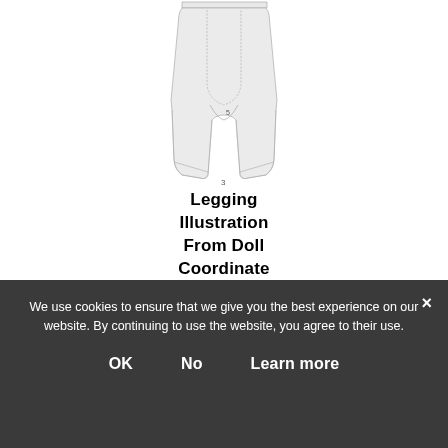[Figure (illustration): Technical line drawing of legging/pants garment showing front view with two legs, crotch area with label '5', and bottom label '3'. The garment is drawn with light gray shading and outline stitching details.]
Legging Illustration From Doll Coordinate Recipe 13 page
We use cookies to ensure that we give you the best experience on our website. By continuing to use the website, you agree to their use.